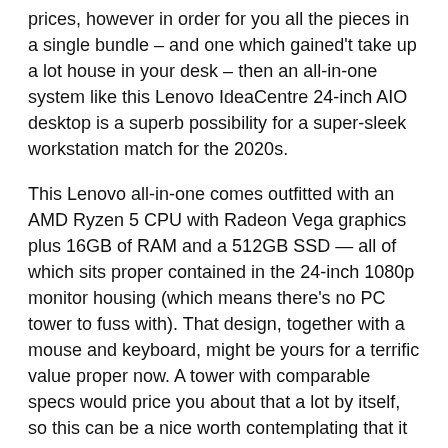prices, however in order for you all the pieces in a single bundle – and one which gained't take up a lot house in your desk – then an all-in-one system like this Lenovo IdeaCentre 24-inch AIO desktop is a superb possibility for a super-sleek workstation match for the 2020s.
This Lenovo all-in-one comes outfitted with an AMD Ryzen 5 CPU with Radeon Vega graphics plus 16GB of RAM and a 512GB SSD — all of which sits proper contained in the 24-inch 1080p monitor housing (which means there's no PC tower to fuss with). That design, together with a mouse and keyboard, might be yours for a terrific value proper now. A tower with comparable specs would price you about that a lot by itself, so this can be a nice worth contemplating that it has all the pieces you want proper out of the field with {hardware} that can final you for years to return.